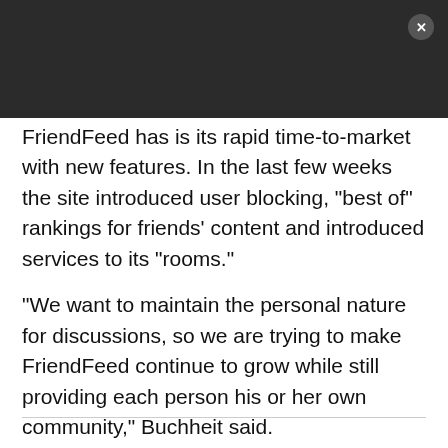[Figure (screenshot): Dark header bar with close (X) button in top right corner]
FriendFeed has is its rapid time-to-market with new features. In the last few weeks the site introduced user blocking, "best of" rankings for friends' content and introduced services to its "rooms."
"We want to maintain the personal nature for discussions, so we are trying to make FriendFeed continue to grow while still providing each person his or her own community," Buchheit said.
View the Techmeme discussion.
(Paul Buchheit image provided by FriendFeed)